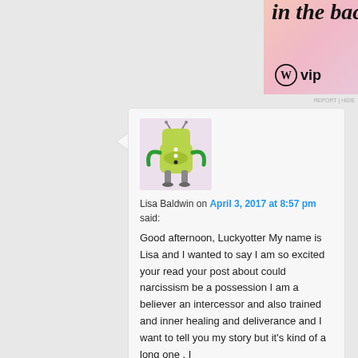[Figure (illustration): WordPress VIP advertisement banner with gradient pink/purple background, bold italic text 'in the back.' and WordPress W logo with 'vip' text, and 'Learn more →' button]
[Figure (illustration): Avatar/illustration of a cartoon green robot or creature character on a pink/lavender background]
Lisa Baldwin on April 3, 2017 at 8:57 pm said:
Good afternoon, Luckyotter My name is Lisa and I wanted to say I am so excited your read your post about could narcissism be a possession I am a believer an intercessor and also trained and inner healing and deliverance and I want to tell you my story but it's kind of a long one . I